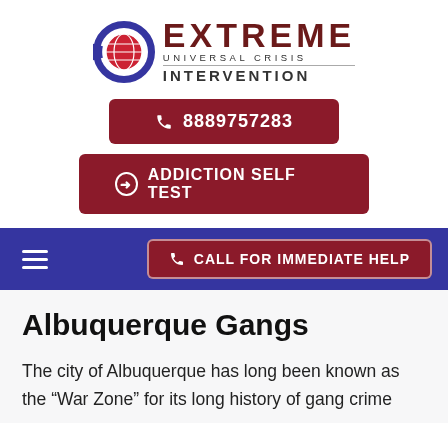[Figure (logo): Extreme Universal Crisis Intervention logo with globe icon in blue circular frame]
8889757283
ADDICTION SELF TEST
CALL FOR IMMEDIATE HELP
Albuquerque Gangs
The city of Albuquerque has long been known as the “War Zone” for its long history of gang crime